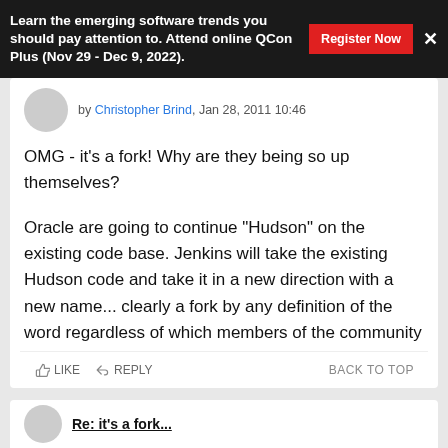Learn the emerging software trends you should pay attention to. Attend online QCon Plus (Nov 29 - Dec 9, 2022).
by Christopher Brind, Jan 28, 2011 10:46
OMG - it's a fork! Why are they being so up themselves?
Oracle are going to continue "Hudson" on the existing code base. Jenkins will take the existing Hudson code and take it in a new direction with a new name... clearly a fork by any definition of the word regardless of which members of the community are going along with it.
Get over it!
LIKE   REPLY   BACK TO TOP
Re: it's a fork...